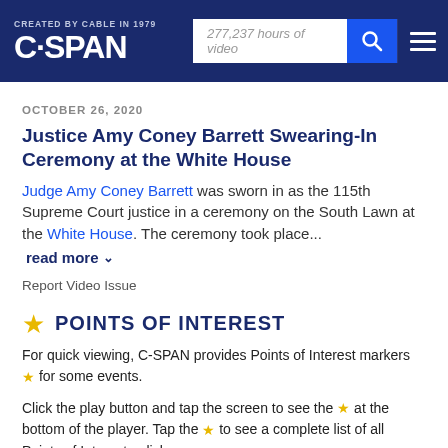C-SPAN — CREATED BY CABLE IN 1979 — 277,237 hours of video
OCTOBER 26, 2020
Justice Amy Coney Barrett Swearing-In Ceremony at the White House
Judge Amy Coney Barrett was sworn in as the 115th Supreme Court justice in a ceremony on the South Lawn at the White House. The ceremony took place...
read more
Report Video Issue
POINTS OF INTEREST
For quick viewing, C-SPAN provides Points of Interest markers ★ for some events.
Click the play button and tap the screen to see the ★ at the bottom of the player. Tap the ★ to see a complete list of all Points of Interest - click